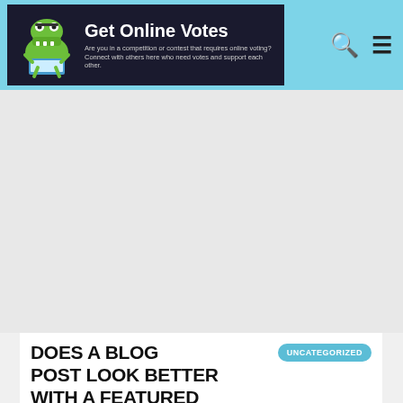Get Online Votes — Are you in a competition or contest that requires online voting? Connect with others here who need votes and support each other.
[Figure (other): Large gray advertisement/placeholder area below the site header]
DOES A BLOG POST LOOK BETTER WITH A FEATURED IMAGE?
UNCATEGORIZED